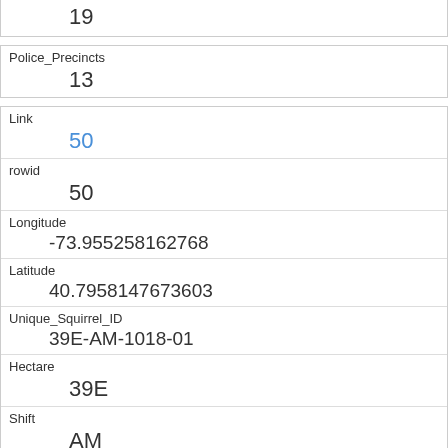| 19 |
| Police_Precincts | 13 |
| Link | 50 |
| rowid | 50 |
| Longitude | -73.955258162768 |
| Latitude | 40.7958147673603 |
| Unique_Squirrel_ID | 39E-AM-1018-01 |
| Hectare | 39E |
| Shift | AM |
| Date | 1018 |